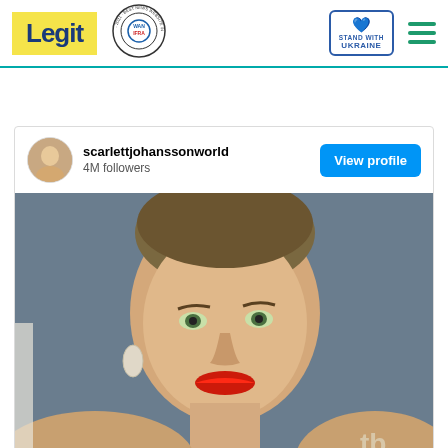Legit — WANIFRA 2021 Best News Website in Africa — Stand With Ukraine — Menu
[Figure (screenshot): Instagram embed card showing scarlettjohanssonworld account with 4M followers and a View profile button, with a close-up photo of a woman with slicked-back hair, green eyes, and red lipstick against a blue background]